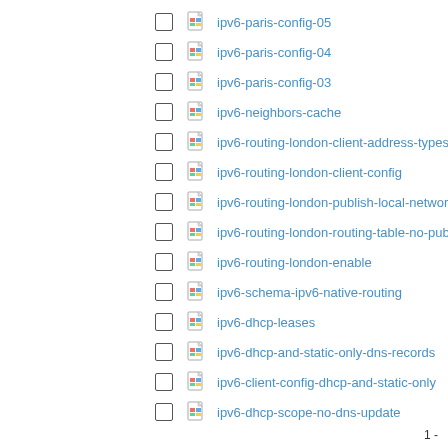ipv6-paris-config-05
ipv6-paris-config-04
ipv6-paris-config-03
ipv6-neighbors-cache
ipv6-routing-london-client-address-types
ipv6-routing-london-client-config
ipv6-routing-london-publish-local-network-route
ipv6-routing-london-routing-table-no-publishing
ipv6-routing-london-enable
ipv6-schema-ipv6-native-routing
ipv6-dhcp-leases
ipv6-dhcp-and-static-only-dns-records
ipv6-client-config-dhcp-and-static-only
ipv6-dhcp-scope-no-dns-update
1 -